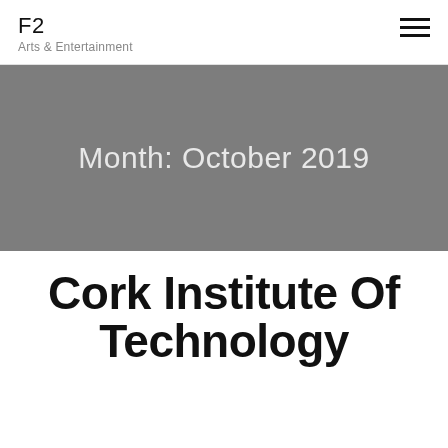F2
Arts & Entertainment
Month: October 2019
Cork Institute Of Technology